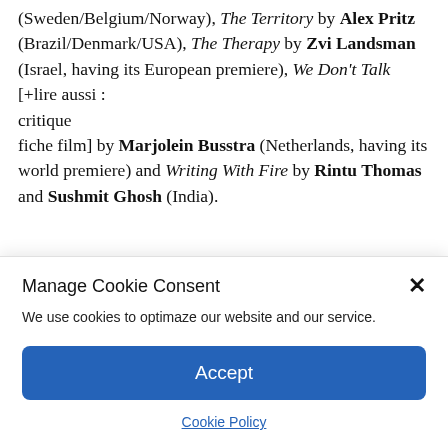(Sweden/Belgium/Norway), The Territory by Alex Pritz (Brazil/Denmark/USA), The Therapy by Zvi Landsman (Israel, having its European premiere), We Don't Talk [+lire aussi : critique fiche film] by Marjolein Busstra (Netherlands, having its world premiere) and Writing With Fire by Rintu Thomas and Sushmit Ghosh (India).
Manage Cookie Consent
We use cookies to optimaze our website and our service.
Accept
Cookie Policy